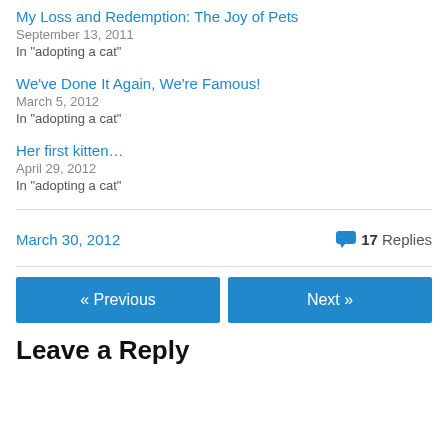My Loss and Redemption: The Joy of Pets
September 13, 2011
In "adopting a cat"
We've Done It Again, We're Famous!
March 5, 2012
In "adopting a cat"
Her first kitten…
April 29, 2012
In "adopting a cat"
March 30, 2012  💬 17 Replies
« Previous
Next »
Leave a Reply